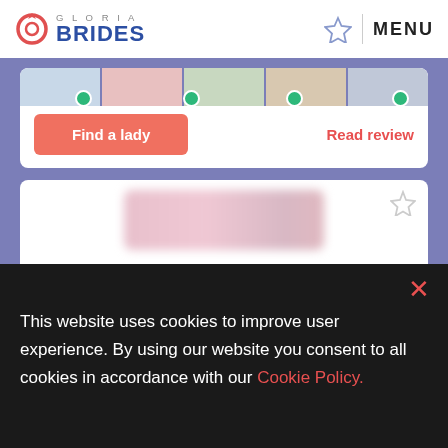Gloria Brides — MENU
[Figure (screenshot): Top portion of a dating site card showing profile photos with green checkmarks]
Find a lady
Read review
[Figure (screenshot): Dating site card with blurred logo, rating 8.5 with 4 stars, mobile and desktop icons with green checkmarks, 3280 Girls online now]
3280 Girls online now
This website uses cookies to improve user experience. By using our website you consent to all cookies in accordance with our Cookie Policy.